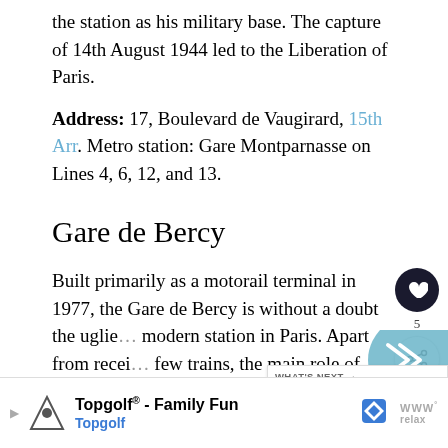the station as his military base. The capture of 14th August 1944 led to the Liberation of Paris.
Address: 17, Boulevard de Vaugirard, 15th Arr. Metro station: Gare Montparnasse on Lines 4, 6, 12, and 13.
Gare de Bercy
Built primarily as a motorail terminal in 1977, the Gare de Bercy is without a doubt the ugliest modern station in Paris. Apart from receiving a few trains, the main role of Gare de Bercy is to transport cars of passengers to the south of France. Travelers can drop their car at the st...